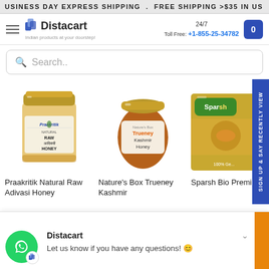BUSINESS DAY EXPRESS SHIPPING . FREE SHIPPING >$35 IN US
[Figure (logo): Distacart logo with tagline 'Indian products at your doorstep!']
24/7 Toll Free: +1-855-25-34782
Search..
[Figure (photo): Praakritik Natural Raw Adivasi Honey jar]
[Figure (photo): Nature's Box Trueney Kashmir Honey jar]
[Figure (photo): Sparsh Bio Premium Honey jar]
Praakritik Natural Raw Adivasi Honey
Nature's Box Trueney Kashmir
Sparsh Bio Premium S
Sign up & say RECENTLY VIEW
Distacart
Let us know if you have any questions! 😊